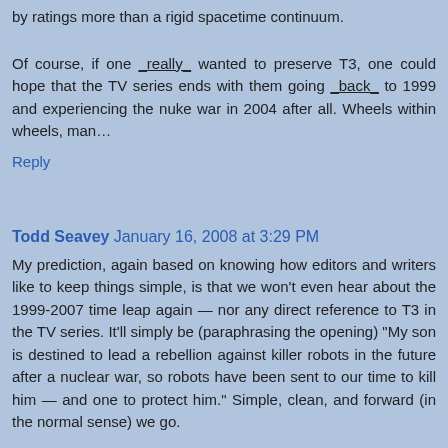by ratings more than a rigid spacetime continuum.
Of course, if one _really_ wanted to preserve T3, one could hope that the TV series ends with them going _back_ to 1999 and experiencing the nuke war in 2004 after all. Wheels within wheels, man…
Reply
Todd Seavey  January 16, 2008 at 3:29 PM
My prediction, again based on knowing how editors and writers like to keep things simple, is that we won't even hear about the 1999-2007 time leap again — nor any direct reference to T3 in the TV series. It'll simply be (paraphrasing the opening) "My son is destined to lead a rebellion against killer robots in the future after a nuclear war, so robots have been sent to our time to kill him — and one to protect him." Simple, clean, and forward (in the normal sense) we go.
No need for new viewers to be burdened ever again with